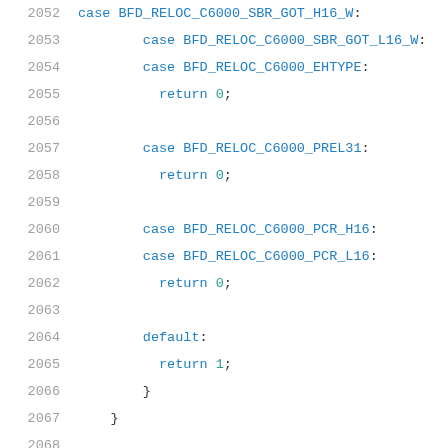2052    case BFD_RELOC_C6000_SBR_GOT_H16_W:
2053        case BFD_RELOC_C6000_SBR_GOT_L16_W:
2054        case BFD_RELOC_C6000_EHTYPE:
2055          return 0;
2056
2057        case BFD_RELOC_C6000_PREL31:
2058          return 0;
2059
2060        case BFD_RELOC_C6000_PCR_H16:
2061        case BFD_RELOC_C6000_PCR_L16:
2062          return 0;
2063
2064        default:
2065          return 1;
2066        }
2067    }
2068
2069    /* Given the fine-grained form of an operand, r
2070        (bit-mask) form.  */
2071
2072    static unsigned int
2073    tic6x_coarse_operand_form (tic6x_operand_form f